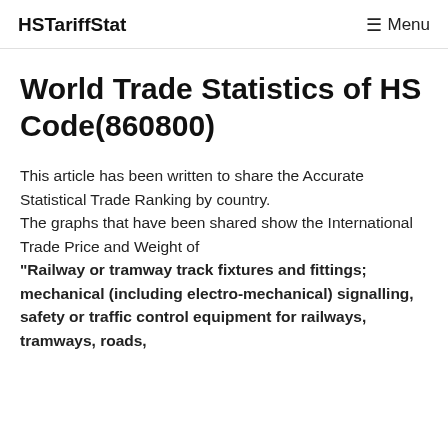HSTariffStat   ☰ Menu
World Trade Statistics of HS Code(860800)
This article has been written to share the Accurate Statistical Trade Ranking by country. The graphs that have been shared show the International Trade Price and Weight of "Railway or tramway track fixtures and fittings; mechanical (including electro-mechanical) signalling, safety or traffic control equipment for railways, tramways, roads,